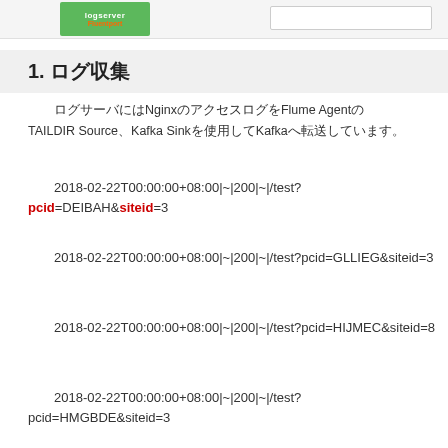[Figure (screenshot): Top navigation bar with green logserver/Fluentport logo and search bar]
1. ログ収集
ログサーバにはNginxのアクセスログをFlume AgentのTAILDIR Source、Kafka Sinkを使用してKafkaへ転送しています。
2018-02-22T00:00:00+08:00|~|200|~|/test?pcid=DEIBAH&siteid=3
2018-02-22T00:00:00+08:00|~|200|~|/test?pcid=GLLIEG&siteid=3
2018-02-22T00:00:00+08:00|~|200|~|/test?pcid=HIJMEC&siteid=8
2018-02-22T00:00:00+08:00|~|200|~|/test?pcid=HMGBDE&siteid=3